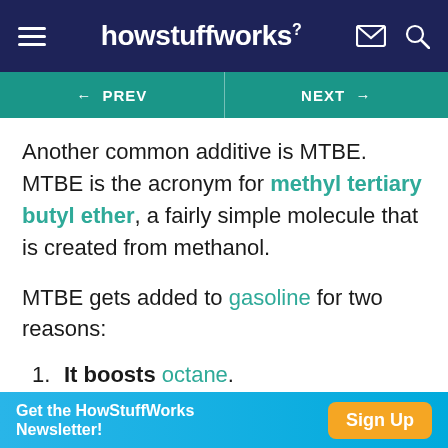howstuffworks²
← PREV | NEXT →
Another common additive is MTBE. MTBE is the acronym for methyl tertiary butyl ether, a fairly simple molecule that is created from methanol.
MTBE gets added to gasoline for two reasons:
1. It boosts octane.
2. It is an oxygenate, meaning that it adds oxygen to the reaction when it burns. Ideally, an oxygenate reduces the amount of unburned
Get the HowStuffWorks Newsletter! Sign Up